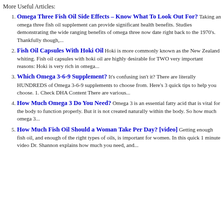More Useful Articles:
Omega Three Fish Oil Side Effects – Know What To Look Out For? Taking an omega three fish oil supplement can provide significant health benefits. Studies demonstrating the wide ranging benefits of omega three now date right back to the 1970's. Thankfully though,...
Fish Oil Capsules With Hoki Oil Hoki is more commonly known as the New Zealand whiting. Fish oil capsules with hoki oil are highly desirable for TWO very important reasons: Hoki is very rich in omega...
Which Omega 3-6-9 Supplement? It's confusing isn't it? There are literally HUNDREDS of Omega 3-6-9 supplements to choose from. Here's 3 quick tips to help you choose. 1. Check DHA Content There are various...
How Much Omega 3 Do You Need? Omega 3 is an essential fatty acid that is vital for the body to function properly. But it is not created naturally within the body. So how much omega 3...
How Much Fish Oil Should a Woman Take Per Day? [video] Getting enough fish oil, and enough of the right types of oils, is important for women. In this quick 1 minute video Dr. Shannon explains how much you need, and...